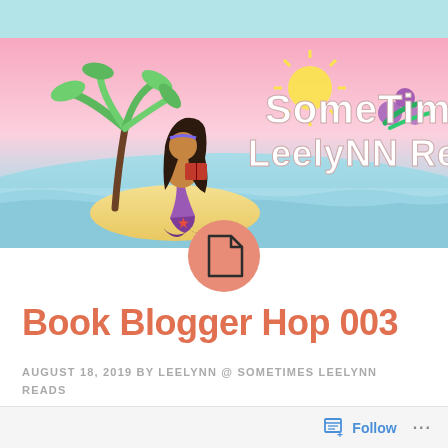[Figure (illustration): Blog banner for 'Sometimes Leelynn Reads' showing a mermaid with dark hair sitting on a sandy island with a palm tree, reading a book. The background has a pink sky, ocean, and tropical flowers. Text reads 'SOMETIMES LEELYNN READS' in white bubble letters.]
[Figure (logo): Orange-salmon circular icon with a white document/page symbol in the center]
Book Blogger Hop 003
AUGUST 18, 2019 BY LEELYNN @ SOMETIMES LEELYNN READS
Follow ...